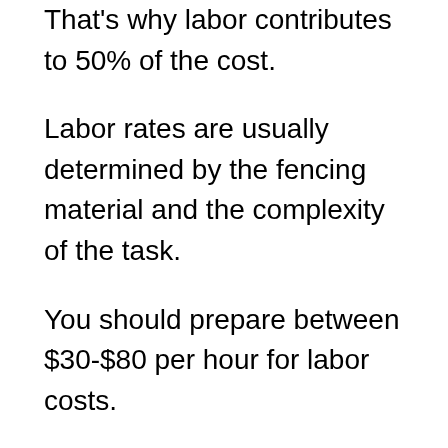That's why labor contributes to 50% of the cost.
Labor rates are usually determined by the fencing material and the complexity of the task.
You should prepare between $30-$80 per hour for labor costs.
Professional contractors can install a 200 linear feet fence within 35 hours.
Trees may need to be removed on rare